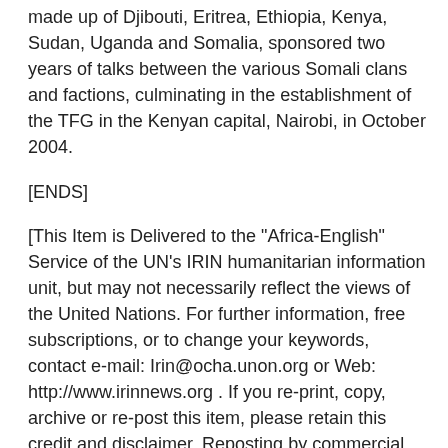made up of Djibouti, Eritrea, Ethiopia, Kenya, Sudan, Uganda and Somalia, sponsored two years of talks between the various Somali clans and factions, culminating in the establishment of the TFG in the Kenyan capital, Nairobi, in October 2004.
[ENDS]
[This Item is Delivered to the "Africa-English" Service of the UN's IRIN humanitarian information unit, but may not necessarily reflect the views of the United Nations. For further information, free subscriptions, or to change your keywords, contact e-mail: Irin@ocha.unon.org or Web: http://www.irinnews.org . If you re-print, copy, archive or re-post this item, please retain this credit and disclaimer. Reposting by commercial sites requires written IRIN permission.]
Copyright (c) UN Office for the Coordination of